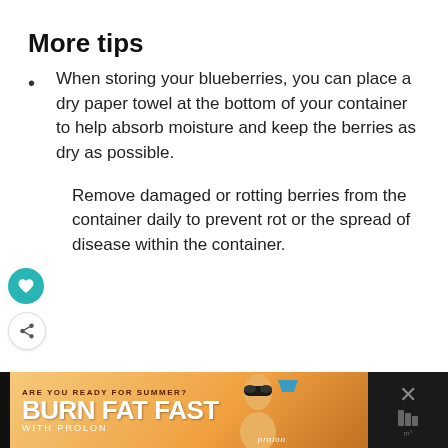More tips
When storing your blueberries, you can place a dry paper towel at the bottom of your container to help absorb moisture and keep the berries as dry as possible.
Remove damaged or rotting berries from the container daily to prevent rot or the spread of disease within the container.
[Figure (infographic): What's Next banner with New Jersey Weekend text and thumbnail image]
[Figure (infographic): Advertisement banner: ARE YOU READY FOR SUMMER? BURN FAT FAST WITH PROLON, with image of woman in sunglasses]